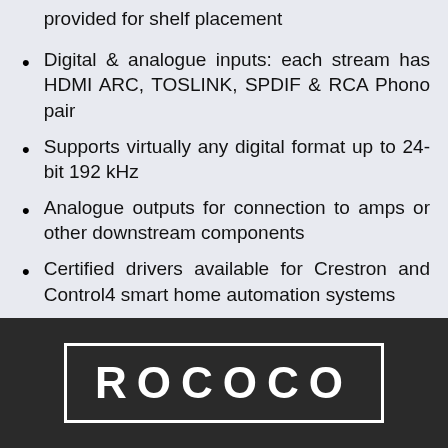provided for shelf placement
Digital & analogue inputs: each stream has HDMI ARC, TOSLINK, SPDIF & RCA Phono pair
Supports virtually any digital format up to 24-bit 192 kHz
Analogue outputs for connection to amps or other downstream components
Certified drivers available for Crestron and Control4 smart home automation systems
[Figure (logo): ROCOCO logo in white text on dark background with white border rectangle]